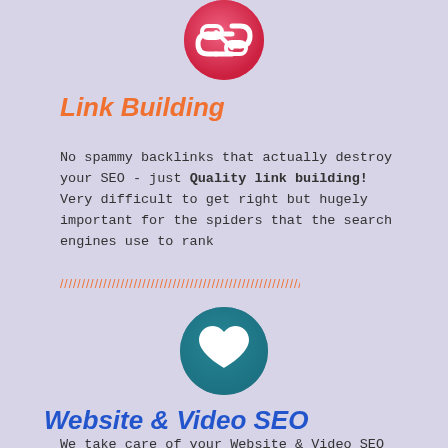[Figure (illustration): Red/pink circular icon with a chain link symbol (link building icon) centered at top of page]
Link Building
No spammy backlinks that actually destroy your SEO - just Quality link building! Very difficult to get right but hugely important for the spiders that the search engines use to rank
[Figure (illustration): Decorative orange slash/zigzag divider line]
[Figure (illustration): Teal/dark cyan circular icon with a white heart symbol centered in lower half of page]
Website & Video SEO
We take care of your Website & Video SEO optimization